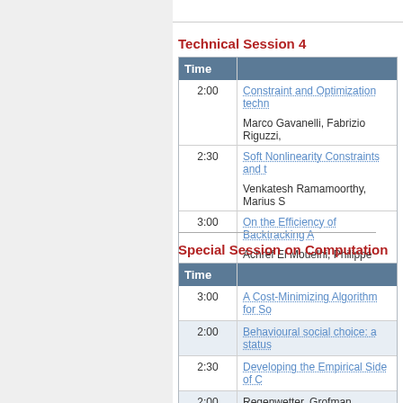Technical Session 4
| Time |  |
| --- | --- |
| 2:00 | Constraint and Optimization techn… |
|  | Marco Gavanelli, Fabrizio Riguzzi, |
| 2:30 | Soft Nonlinearity Constraints and t… |
|  | Venkatesh Ramamoorthy, Marius S… |
| 3:00 | On the Efficiency of Backtracking A… |
|  | Achref El Mouelhi, Philippe Jégou, |
Special Session on Computation…
| Time |  |
| --- | --- |
| 3:00 | A Cost-Minimizing Algorithm for So… |
| 2:00 | Behavioural social choice: a status… |
| 2:30 | Developing the Empirical Side of C… |
| 2:00 | Regenwetter, Grofman, Popova, M… |
| 3:00 | Sinan Aksoy, Adam Azzam, Chaya… Xinjing Zhu |